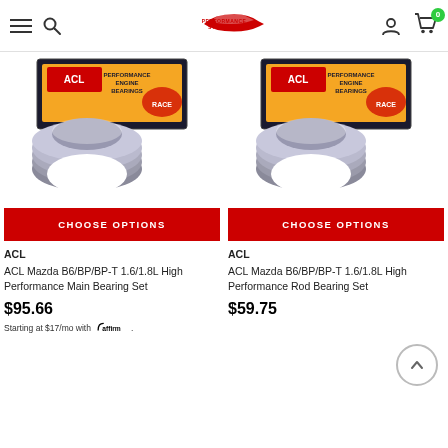PerformanceStop.com navigation header with hamburger menu, search, logo, user icon, and cart (0)
[Figure (photo): ACL engine bearing set product image - box with bearing shells, left product]
CHOOSE OPTIONS
ACL
ACL Mazda B6/BP/BP-T 1.6/1.8L High Performance Main Bearing Set
$95.66
Starting at $17/mo with Affirm.
[Figure (photo): ACL engine bearing set product image - box with bearing shells, right product]
CHOOSE OPTIONS
ACL
ACL Mazda B6/BP/BP-T 1.6/1.8L High Performance Rod Bearing Set
$59.75